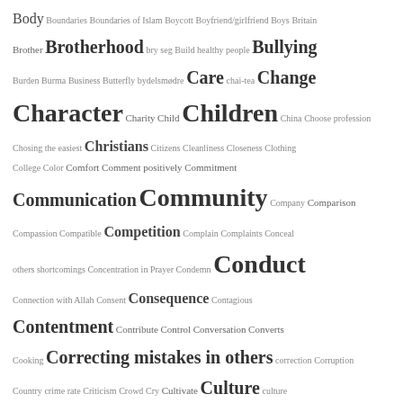[Figure (infographic): Word cloud / tag cloud of topics and concepts related to Islamic/community education, with words sized by frequency/importance. Words include Body, Boundaries, Brotherhood, Bullying, Care, Change, Character, Children, Christians, Community, Competition, Conduct, Consequence, Contentment, Culture, Danger, and many more.]